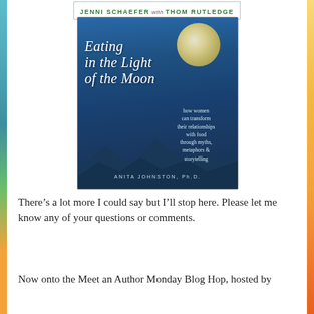[Figure (other): Author banner at top reading JENNI SCHAEFER with THOM RUTLEDGE in a bordered box]
[Figure (illustration): Book cover of 'Eating in the Light of the Moon' by Anita Johnston, Ph.D. with moon and mountain silhouette on blue background]
There’s a lot more I could say but I’ll stop here. Please let me know any of your questions or comments.
Now onto the Meet an Author Monday Blog Hop, hosted by